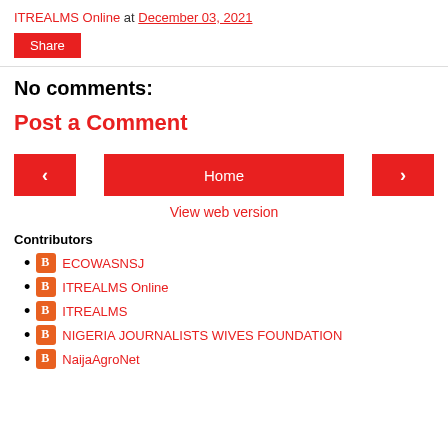ITREALMS Online at December 03, 2021
Share
No comments:
Post a Comment
< Home >
View web version
Contributors
ECOWASNSJ
ITREALMS Online
ITREALMS
NIGERIA JOURNALISTS WIVES FOUNDATION
NaijaAgroNet